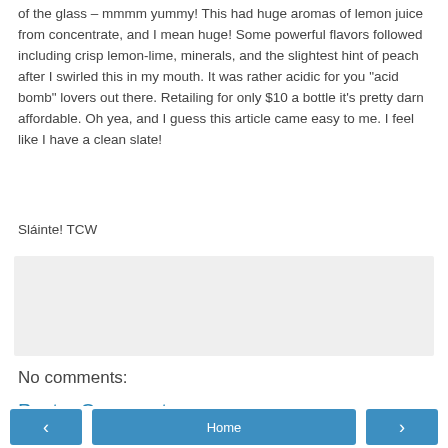of the glass – mmmm yummy! This had huge aromas of lemon juice from concentrate, and I mean huge! Some powerful flavors followed including crisp lemon-lime, minerals, and the slightest hint of peach after I swirled this in my mouth. It was rather acidic for you “acid bomb” lovers out there. Retailing for only $10 a bottle it’s pretty darn affordable. Oh yea, and I guess this article came easy to me. I feel like I have a clean slate!
Sláinte! TCW
[Figure (other): Share button area with light gray background]
No comments:
Post a Comment
< Home >